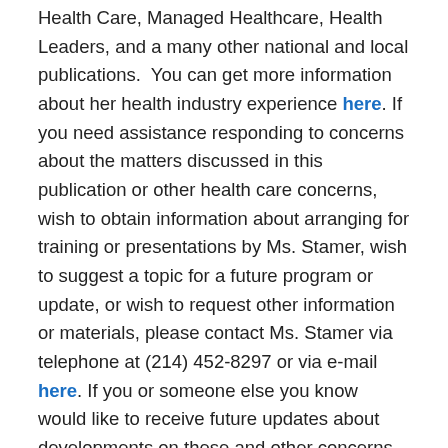Health Care, Managed Healthcare, Health Leaders, and a many other national and local publications.  You can get more information about her health industry experience here. If you need assistance responding to concerns about the matters discussed in this publication or other health care concerns, wish to obtain information about arranging for training or presentations by Ms. Stamer, wish to suggest a topic for a future program or update, or wish to request other information or materials, please contact Ms. Stamer via telephone at (214) 452-8297 or via e-mail here. If you or someone else you know would like to receive future updates about developments on these and other concerns from Ms. Stamer, see  here.
About Solutions Law Press
Solutions Law Press™ provides business risk